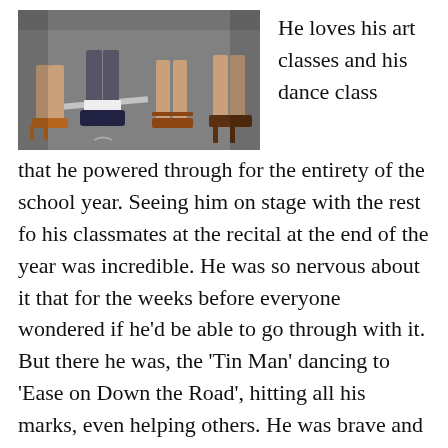[Figure (photo): Close-up photograph of several people's feet and legs standing on asphalt pavement, wearing various shoes including heels and sneakers.]
He loves his art classes and his dance class that he powered through for the entirety of the school year. Seeing him on stage with the rest fo his classmates at the recital at the end of the year was incredible. He was so nervous about it that for the weeks before everyone wondered if he'd be able to go through with it. But there he was, the 'Tin Man' dancing to 'Ease on Down the Road', hitting all his marks, even helping others. He was brave and graceful.
I so wanted to be that brave when I was little. My older brothers were in all the plays at